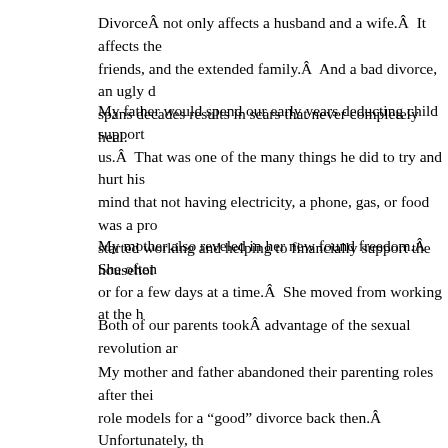DivorceÂ not only affects a husband and a wife.Â  It affects the friends, and the extended family.Â  And a bad divorce, an ugly d spans decades results in scars that never completely heal.
My father would spend our early years deducting child support us.Â  That was one of the many things he did to try and hurt his mind that not having electricity, a phone, gas, or food was a pro started working and helping to financially support the househol
My mother also reveled in her new found freedom.Â  She often or for a few days at a time.Â  She moved from working at the h
Both of our parents tookÂ advantage of the sexual revolution ar
My mother and father abandoned their parenting roles after thei role models for a “good” divorce back then.Â  Unfortunately, th for being a parent of teenagers, or a parent of young adults, or a grandparent.Â  So for me, especially as I haveÂ had teenagers a be empty nest and maybe even grandchildren someday. I want